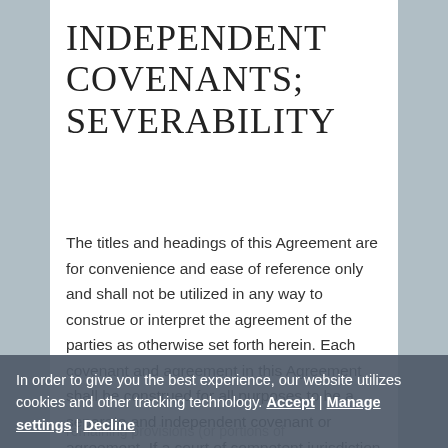INDEPENDENT COVENANTS; SEVERABILITY
The titles and headings of this Agreement are for convenience and ease of reference only and shall not be utilized in any way to construe or interpret the agreement of the parties as otherwise set forth herein. Each covenant and agreement in this Agreement shall be construed for all purposes to be a separate and independent covenant or agreement. If a court of competent jurisdiction holds any provision (or portion of
In order to give you the best experience, our website utilizes cookies and other tracking technology. Accept | Manage settings | Decline